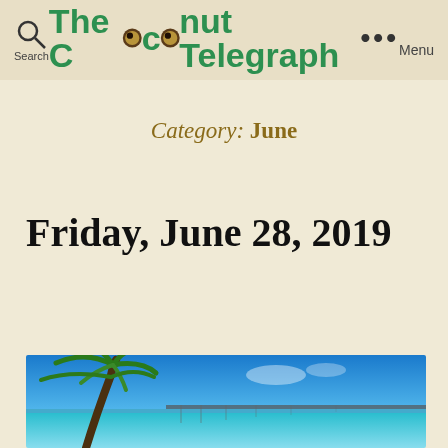Search | The Coconut Telegraph | Menu
Category: June
Friday, June 28, 2019
[Figure (photo): Tropical beach scene with a palm tree on the left leaning over turquoise water, a long pier/bridge extending into the distance under a bright blue sky.]